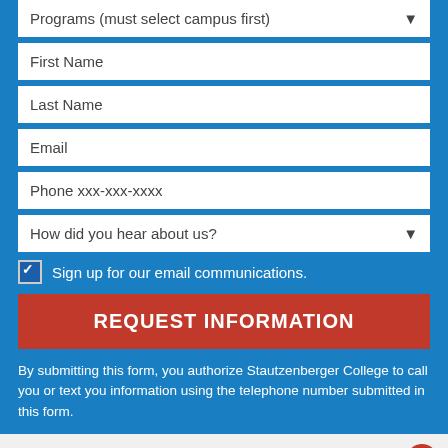Programs (must select campus first)
First Name
Last Name
Email
Phone xxx-xxx-xxxx
How did you hear about us?
✓ Sign up for our email communications.
REQUEST INFORMATION
By submitting this form, you authorize Stautzenberger College to call you or text you information using the telephone number submitted in this form.
Our Next Class Starts September 26th
^ BACK TO TOP ^
Program